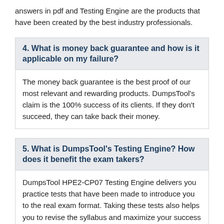answers in pdf and Testing Engine are the products that have been created by the best industry professionals.
4. What is money back guarantee and how is it applicable on my failure?
The money back guarantee is the best proof of our most relevant and rewarding products. DumpsTool's claim is the 100% success of its clients. If they don't succeed, they can take back their money.
5. What is DumpsTool’s Testing Engine? How does it benefit the exam takers?
DumpsTool HPE2-CP07 Testing Engine delivers you practice tests that have been made to introduce you to the real exam format. Taking these tests also helps you to revise the syllabus and maximize your success